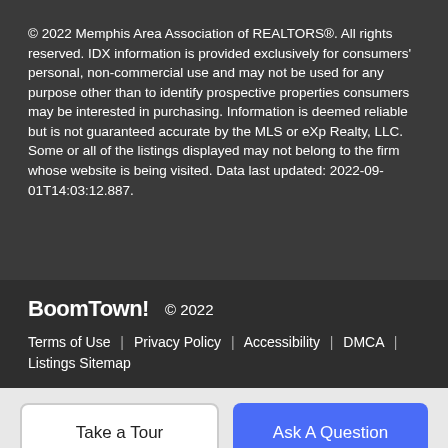© 2022 Memphis Area Association of REALTORS®. All rights reserved. IDX information is provided exclusively for consumers' personal, non-commercial use and may not be used for any purpose other than to identify prospective properties consumers may be interested in purchasing. Information is deemed reliable but is not guaranteed accurate by the MLS or eXp Realty, LLC. Some or all of the listings displayed may not belong to the firm whose website is being visited. Data last updated: 2022-09-01T14:03:12.887.
BoomTown! © 2022
Terms of Use | Privacy Policy | Accessibility | DMCA | Listings Sitemap
Take a Tour
Ask A Question